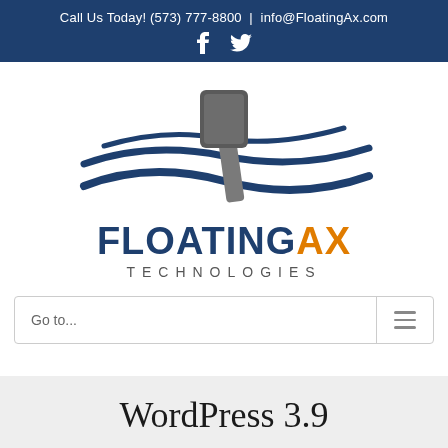Call Us Today! (573) 777-8800  |  info@FloatingAx.com
[Figure (logo): FloatingAx Technologies logo: an axe floating on blue waves, with company name FLOATINGAX TECHNOLOGIES in dark blue and orange]
Go to...
WordPress 3.9